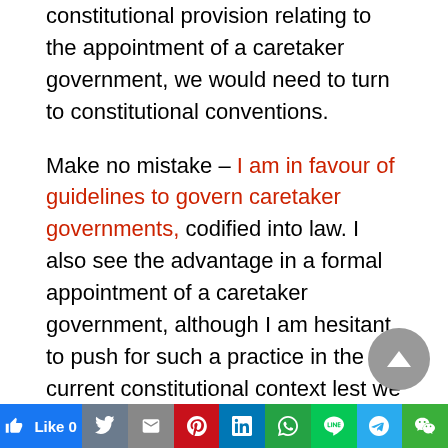constitutional provision relating to the appointment of a caretaker government, we would need to turn to constitutional conventions.
Make no mistake – I am in favour of guidelines to govern caretaker governments, codified into law. I also see the advantage in a formal appointment of a caretaker government, although I am hesitant to push for such a practice in the current constitutional context lest we give extra-constitutional powers to the Rulers.
But as it stands, convention dictates the appointment and guidelines of a caretaker
[Figure (other): Social media sharing bar with Like, Twitter, Gmail, Pinterest, LinkedIn, WhatsApp, Line, Telegram, WeChat buttons]